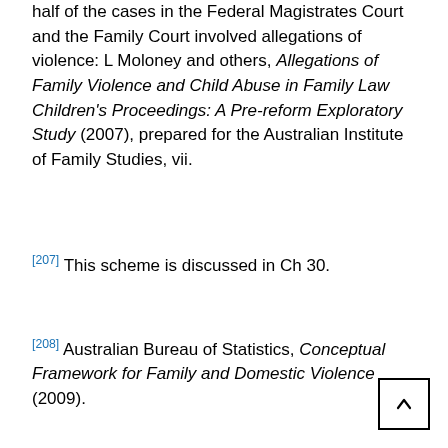half of the cases in the Federal Magistrates Court and the Family Court involved allegations of violence: L Moloney and others, Allegations of Family Violence and Child Abuse in Family Law Children's Proceedings: A Pre-reform Exploratory Study (2007), prepared for the Australian Institute of Family Studies, vii.
[207] This scheme is discussed in Ch 30.
[208] Australian Bureau of Statistics, Conceptual Framework for Family and Domestic Violence (2009).